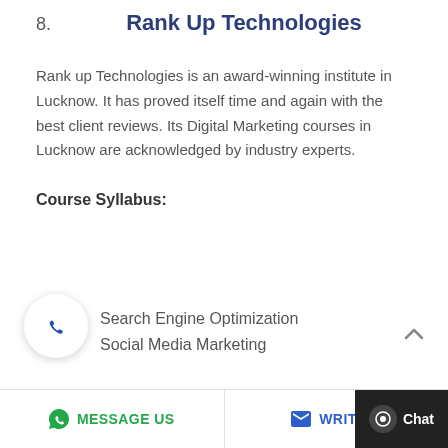8.   Rank Up Technologies
Rank up Technologies is an award-winning institute in Lucknow. It has proved itself time and again with the best client reviews. Its Digital Marketing courses in Lucknow are acknowledged by industry experts.
Course Syllabus:
Search Engine Optimization
Social Media Marketing
MESSAGE US   WRITE U...   Chat